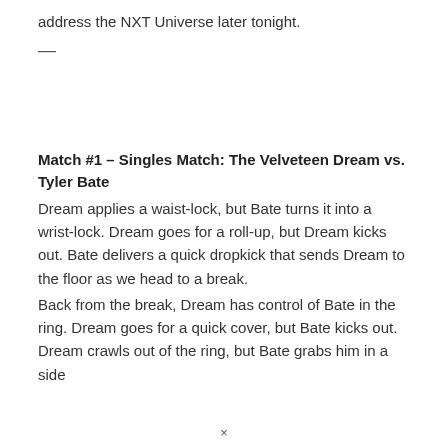address the NXT Universe later tonight.
—
Match #1 – Singles Match: The Velveteen Dream vs. Tyler Bate
Dream applies a waist-lock, but Bate turns it into a wrist-lock. Dream goes for a roll-up, but Dream kicks out. Bate delivers a quick dropkick that sends Dream to the floor as we head to a break.
Back from the break, Dream has control of Bate in the ring. Dream goes for a quick cover, but Bate kicks out. Dream crawls out of the ring, but Bate grabs him in a side
×